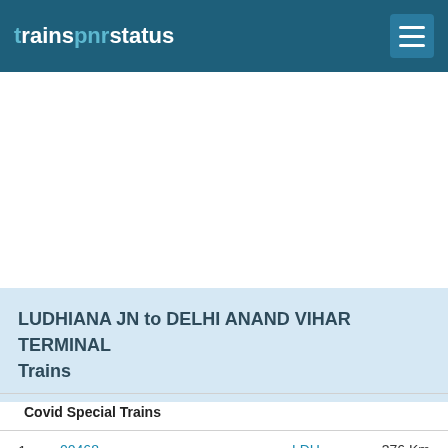trainspnrstatus
LUDHIANA JN to DELHI ANAND VIHAR TERMINAL Trains
Covid Special Trains
| # | Train | Station | Details |
| --- | --- | --- | --- |
| 1 | 00468
ASR HWH COVID 19
MON | LDH
18:10
DLI
05:00 | 376 Km
10h
50m |